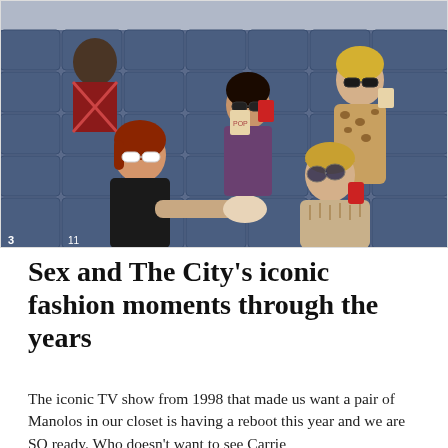[Figure (photo): Four women sitting in blue stadium seats, all wearing sunglasses and fashionable outfits. One woman on the left has red hair and white sunglasses, one in the center is wearing purple and holding a red cup and snacks, one on the right front is wearing a fur coat and holding a red cup, and one standing behind on the right is also in a fur/leopard coat. A man in a plaid shirt is visible in the background.]
Sex and The City's iconic fashion moments through the years
The iconic TV show from 1998 that made us want a pair of Manolos in our closet is having a reboot this year and we are SO ready. Who doesn't want to see Carrie